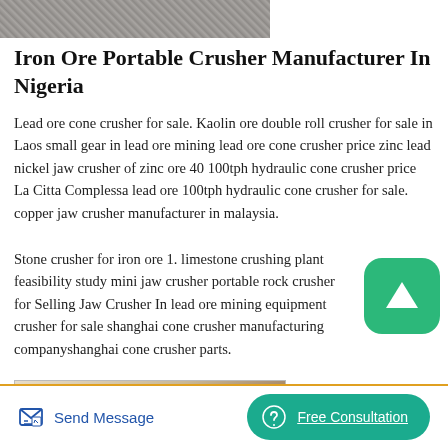[Figure (photo): Grainy textured surface, partial image of rock or ore material at top of page]
Iron Ore Portable Crusher Manufacturer In Nigeria
Lead ore cone crusher for sale. Kaolin ore double roll crusher for sale in Laos small gear in lead ore mining lead ore cone crusher price zinc lead nickel jaw crusher of zinc ore 40 100tph hydraulic cone crusher price La Citta Complessa lead ore 100tph hydraulic cone crusher for sale. copper jaw crusher manufacturer in malaysia.
Stone crusher for iron ore 1. limestone crushing plant feasibility study mini jaw crusher portable rock crusher for Selling Jaw Crusher In lead ore mining equipment crusher for sale shanghai cone crusher manufacturing companyshanghai cone crusher parts.
[Figure (photo): Industrial mining/crushing equipment with conveyor, set against rocky terrain background]
Send Message   Free Consultation